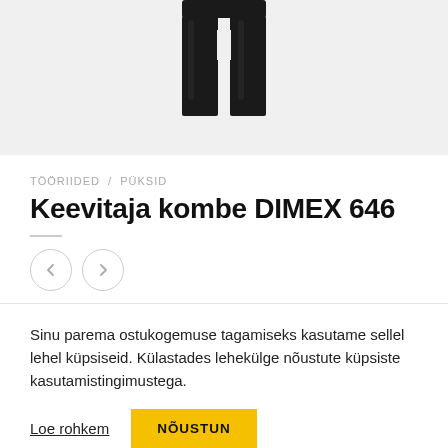[Figure (photo): Partial product image showing dark/black welder's coverall trousers cropped at the top of the page]
TÖÖRIIDED / PÜKSID
Keevitaja kombe DIMEX 646
[Figure (other): Navigation previous and next arrow buttons (circle icons)]
Sinu parema ostukogemuse tagamiseks kasutame sellel lehel küpsiseid. Külastades lehekülge nõustute küpsiste kasutamistingimustega.
Loe rohkem
NÕUSTUN